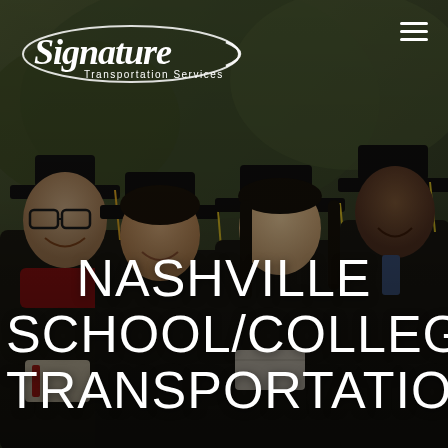[Figure (photo): Background photo of four college graduates in black graduation gowns and caps, smiling and holding diplomas, with a dark overlay.]
[Figure (logo): Signature Transportation Services logo — white cursive 'Signature' text with an oval swoosh shape and 'Transportation Services' in smaller print underneath.]
NASHVILLE SCHOOL/COLLEGE TRANSPORTATION